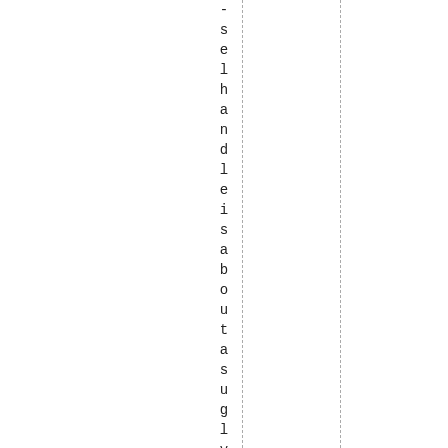- self-handle is about a sugly yast they go